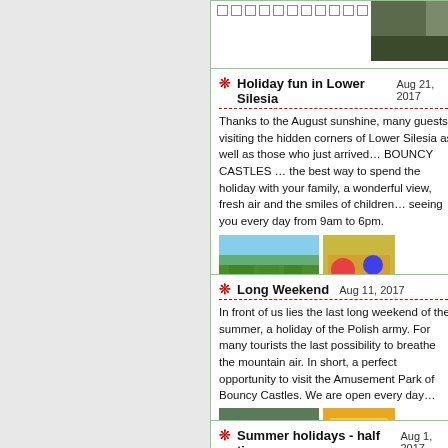[Figure (photo): Partial top card showing navigation dots and a partial outdoor/road photo]
Holiday fun in Lower Silesia  Aug 21, 2017
Thanks to the August sunshine, many guests vi... corners of Lower Silesia as well as those who ju... BOUNCY CASTLES ... the best way to spend t... family, a wonderful view, fresh air and the smile... seeing you every day from 9am to 6pm.
[Figure (photo): Green hillside landscape with trees and shrubs]
[Figure (photo): Partial view of colorful items]
Long Weekend  Aug 11, 2017
In front of us lies the last long weekend of the s... the Polish army. For many tourists the last poss... mountain air. In short, a perfect opportunity to v... Park of Bouncy Castles. We are open every day...
[Figure (photo): Wooden cabin buildings with slate roofs]
[Figure (photo): Colorful bouncy castle inflatable]
Summer holidays - half time  Aug 1, 2017
Officially half of the holiday is over. The weather...